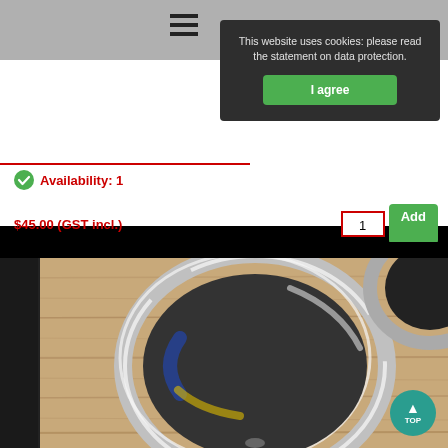This website uses cookies: please read the statement on data protection.
I agree
Availability: 1
$45.00 (GST incl.)
1
Add
[Figure (photo): Chrome headlight trim ring / bezel lying on a wooden surface, with another ring partially visible in the upper right corner.]
TOP